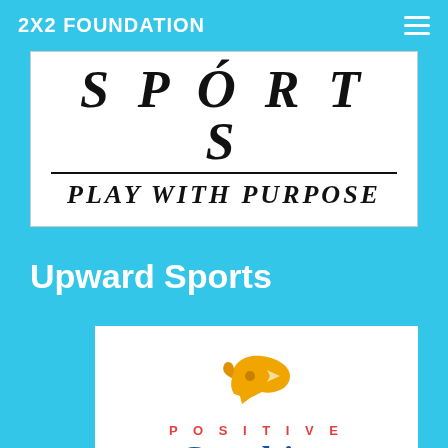2X2 FOUNDATION
[Figure (logo): Upward Sports logo with italic text 'SPORTS' and tagline 'PLAY WITH PURPOSE' on white background]
Upward Sports
[Figure (logo): Positive Coaching Alliance logo with orange whistle icon, red 'POSITIVE' text and blue 'COACHING' text]